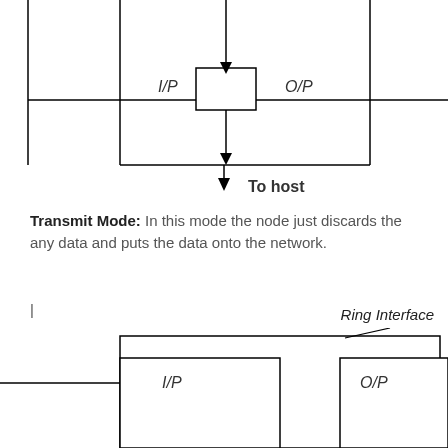[Figure (schematic): Top diagram showing a ring interface schematic with I/P on the left, O/P on the right, a central rectangle with an arrow entering from above, connected to a horizontal bus line passing through it, and a downward arrow at the bottom labeled 'To host'.]
Transmit Mode: In this mode the node just discards the any data and puts the data onto the network.
[Figure (schematic): Bottom diagram showing a ring interface schematic with I/P on the left side inside a box, O/P on the right side inside a box, both connected by horizontal bus lines, with a label 'Ring Interface' pointing to the bounding rectangle via a diagonal line.]